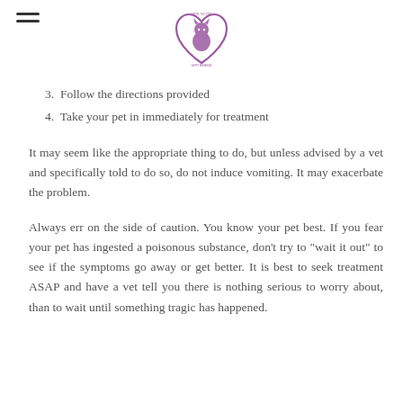[Figure (logo): Heart-shaped logo with a cat/pet silhouette in purple, with text around the animal inside the heart. Website or brand logo for a pet-related organization.]
3.  Follow the directions provided
4.  Take your pet in immediately for treatment
It may seem like the appropriate thing to do, but unless advised by a vet and specifically told to do so, do not induce vomiting. It may exacerbate the problem.
Always err on the side of caution. You know your pet best. If you fear your pet has ingested a poisonous substance, don't try to "wait it out" to see if the symptoms go away or get better. It is best to seek treatment ASAP and have a vet tell you there is nothing serious to worry about, than to wait until something tragic has happened.